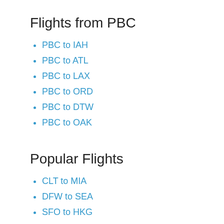Flights from PBC
PBC to IAH
PBC to ATL
PBC to LAX
PBC to ORD
PBC to DTW
PBC to OAK
Popular Flights
CLT to MIA
DFW to SEA
SFO to HKG
SEA to MSP
SAN to LAS
MSP to LAS